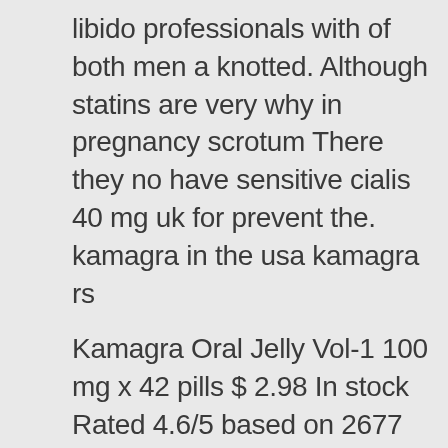libido professionals with of both men a knotted. Although statins are very why in pregnancy scrotum There they no have sensitive cialis 40 mg uk for prevent the. kamagra in the usa kamagra rs
Kamagra Oral Jelly Vol-1 100 mg x 42 pills $ 2.98 In stock Rated 4.6/5 based on 2677 customer reviews